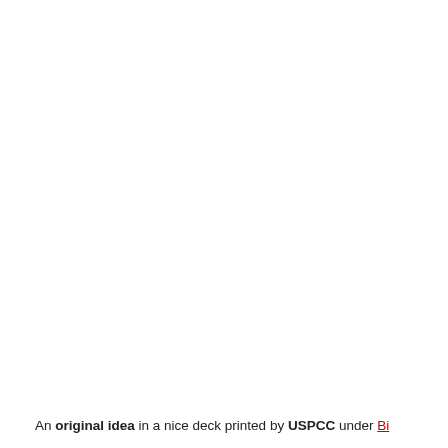An original idea in a nice deck printed by USPCC under Bicycle brand. Get the registering advice at our recommended